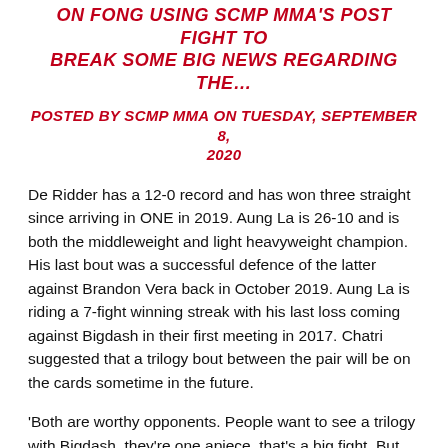ON FONG USING SCMP MMA'S POST FIGHT TO BREAK SOME BIG NEWS REGARDING THE…
POSTED BY SCMP MMA ON TUESDAY, SEPTEMBER 8, 2020
De Ridder has a 12-0 record and has won three straight since arriving in ONE in 2019. Aung La is 26-10 and is both the middleweight and light heavyweight champion. His last bout was a successful defence of the latter against Brandon Vera back in October 2019. Aung La is riding a 7-fight winning streak with his last loss coming against Bigdash in their first meeting in 2017. Chatri suggested that a trilogy bout between the pair will be on the cards sometime in the future.
'Both are worthy opponents. People want to see a trilogy with Bigdash, they're one apiece, that's a big fight. But Reinier,